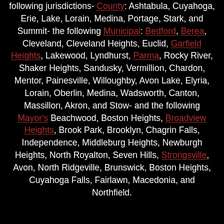following jurisdictions- County: Ashtabula, Cuyahoga, Erie, Lake, Lorain, Medina, Portage, Stark, and Summit- the following Municipal: Bedford, Berea, Cleveland, Cleveland Heights, Euclid, Garfield Heights, Lakewood, Lyndhurst, Parma, Rocky River, Shaker Heights, Sandusky, Vermillion, Chardon, Mentor, Painesville, Willoughby, Avon Lake, Elyria, Lorain, Oberlin, Medina, Wadsworth, Canton, Massillon, Akron, and Stow- and the following Mayor's Beachwood, Boston Heights, Broadview Heights, Brook Park, Brooklyn, Chagrin Falls, Independence, Middleburg Heights, Newburgh Heights, North Royalton, Seven Hills, Strongsville, Avon, North Ridgeville, Brunswick, Boston Heights, Cuyahoga Falls, Fairlawn, Macedonia, and Northfield.